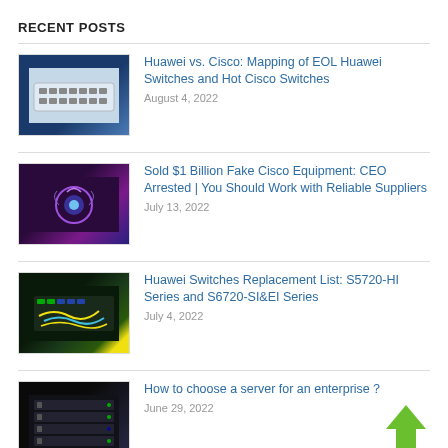RECENT POSTS
Huawei vs. Cisco: Mapping of EOL Huawei Switches and Hot Cisco Switches – August 4, 2022
Sold $1 Billion Fake Cisco Equipment: CEO Arrested | You Should Work with Reliable Suppliers – July 13, 2022
Huawei Switches Replacement List: S5720-HI Series and S6720-SI&EI Series – July 4, 2022
How to choose a server for an enterprise？ – June 29, 2022
Unlock Best Pricing with Ready-to-Ship Products!